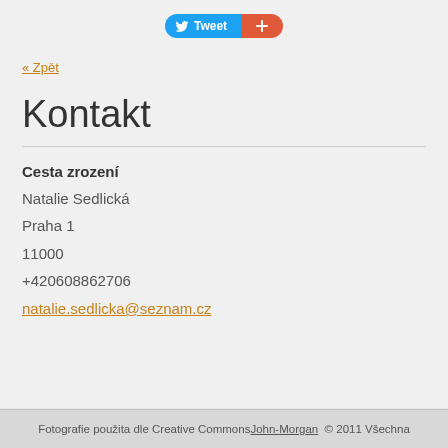[Figure (other): Social sharing buttons: Tweet button (blue, Twitter bird icon) and a red/orange plus button]
« Zpět
Kontakt
Cesta zrození
Natalie Sedlická
Praha 1
11000
+420608862706
natalie.sedlicka@seznam.cz
Fotografie použita dle Creative Commons John-Morgan © 2011 Všechna